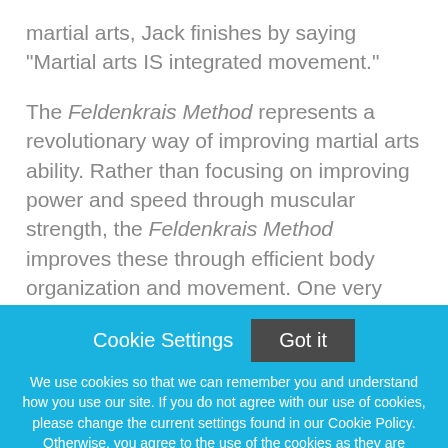martial arts, Jack finishes by saying "Martial arts IS integrated movement."

The Feldenkrais Method represents a revolutionary way of improving martial arts ability. Rather than focusing on improving power and speed through muscular strength, the Feldenkrais Method improves these through efficient body organization and movement. One very important part of how to produce this efficient, effortless power and
Cookie Settings
Got it
We use cookies so that we can remember you and understand how you use our site. If you do not agree with our use of cookies, please change the current settings found in our Cookie Policy. Otherwise, you agree to the use of the cookies as they are currently set.